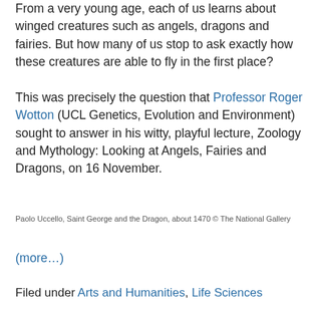From a very young age, each of us learns about winged creatures such as angels, dragons and fairies. But how many of us stop to ask exactly how these creatures are able to fly in the first place?

This was precisely the question that Professor Roger Wotton (UCL Genetics, Evolution and Environment) sought to answer in his witty, playful lecture, Zoology and Mythology: Looking at Angels, Fairies and Dragons, on 16 November.
Paolo Uccello, Saint George and the Dragon, about 1470 © The National Gallery
(more…)
Filed under Arts and Humanities, Life Sciences